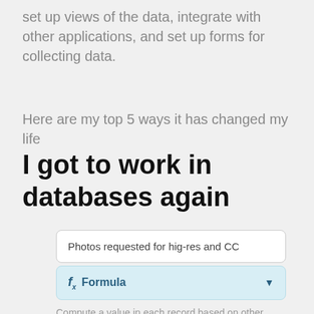set up views of the data, integrate with other applications, and set up forms for collecting data.
Here are my top 5 ways it has changed my life
I got to work in databases again
[Figure (screenshot): Screenshot of a database field editor showing a text input with 'Photos requested for hig-res and CC' and a Formula field selector dropdown with description 'Compute a value in each record based on other fields in the same record. For more information on formulas and a complete function reference']